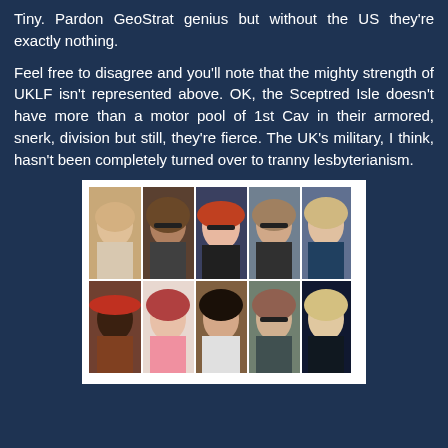Tiny. Pardon GeoStrat genius but without the US they're exactly nothing.
Feel free to disagree and you'll note that the mighty strength of UKLF isn't represented above. OK, the Sceptred Isle doesn't have more than a motor pool of 1st Cav in their armored, snerk, division but still, they're fierce. The UK's military, I think, hasn't been completely turned over to tranny lesbyterianism.
[Figure (photo): A 2x5 grid collage of photographs showing ten women, various ethnicities and ages, appearing to be politicians or public figures.]